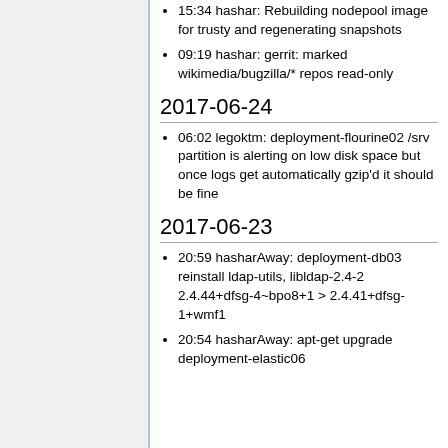15:34 hashar: Rebuilding nodepool image for trusty and regenerating snapshots
09:19 hashar: gerrit: marked wikimedia/bugzilla/* repos read-only
2017-06-24
06:02 legoktm: deployment-flourine02 /srv partition is alerting on low disk space but once logs get automatically gzip'd it should be fine
2017-06-23
20:59 hasharAway: deployment-db03 reinstall ldap-utils, libldap-2.4-2 2.4.44+dfsg-4~bpo8+1 > 2.4.41+dfsg-1+wmf1
20:54 hasharAway: apt-get upgrade deployment-elastic06